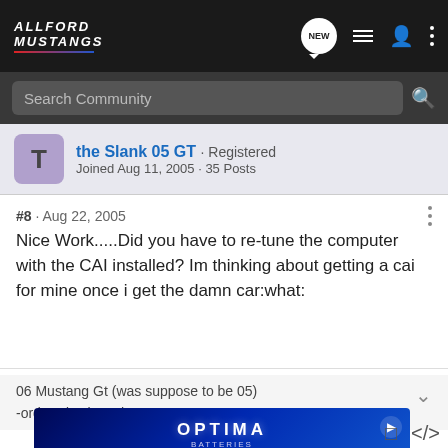AllFord Mustangs
Search Community
the Slank 05 GT · Registered
Joined Aug 11, 2005 · 35 Posts
#8 · Aug 22, 2005
Nice Work.....Did you have to re-tune the computer with the CAI installed? Im thinking about getting a cai for mine once i get the damn car:what:
06 Mustang Gt (was suppose to be 05)
-ordered July 20th
[Figure (screenshot): Optima Batteries advertisement banner with blue background]